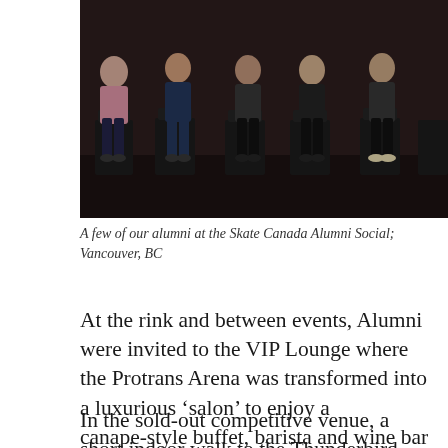[Figure (photo): Group photo of several alumni seated in chairs in a row at the Skate Canada Alumni Social in Vancouver, BC. Dark background, people wearing dark clothing.]
A few of our alumni at the Skate Canada Alumni Social; Vancouver, BC
At the rink and between events, Alumni were invited to the VIP Lounge where the Protrans Arena was transformed into a luxurious ‘salon’ to enjoy a canape-style buffet, barista and wine bar – all surrounded by Canadian holiday décor and featuring quality VIP service in every sense of the word.
In the sold-out competitive venue, a short indoor walk to the Thunderbird Arena, Alumni